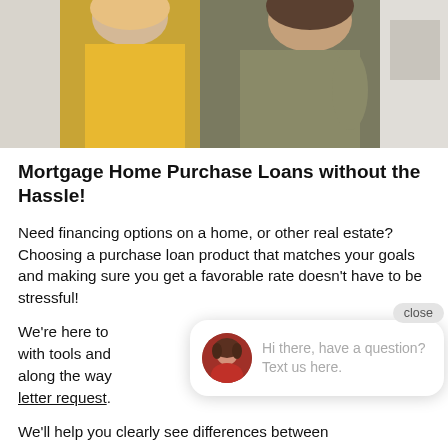[Figure (photo): Photo of two people, one in yellow and one in olive/khaki outfit, cropped at torso level in a home setting.]
Mortgage Home Purchase Loans without the Hassle!
Need financing options on a home, or other real estate? Choosing a purchase loan product that matches your goals and making sure you get a favorable rate doesn't have to be stressful!
We're here to [help you every step of the way] with tools and [resources] along the way [and same day pre-approval] letter request.
We'll help you clearly see differences between programs, allowing you to choose the right one